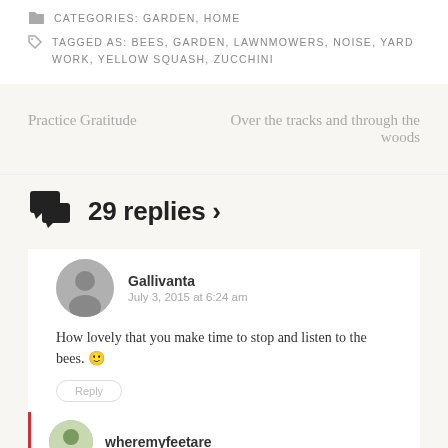CATEGORIES: GARDEN, HOME
TAGGED AS: BEES, GARDEN, LAWNMOWERS, NOISE, YARD WORK, YELLOW SQUASH, ZUCCHINI
Practice Gratitude
Over the tracks and through the woods
29 replies ›
Gallivanta
July 3, 2015 at 6:24 am
How lovely that you make time to stop and listen to the bees. 🙂
wheremyfeetare